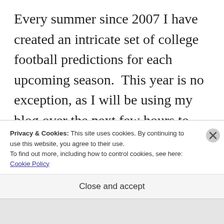Every summer since 2007 I have created an intricate set of college football predictions for each upcoming season.  This year is no exception, as I will be using my blog over the next few hours to publish my 15th annual college football preview guide which will contain 19 entries in all. The records below reflect each team's predicted regular season overall record followed by their conference
Privacy & Cookies: This site uses cookies. By continuing to use this website, you agree to their use.
To find out more, including how to control cookies, see here: Cookie Policy
Close and accept